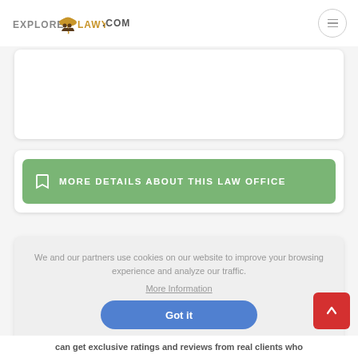[Figure (logo): ExploreLawyers.com logo with umbrella and two figures icon]
[Figure (other): Hamburger menu button (three horizontal lines in circle)]
[Figure (other): Empty white card area]
MORE DETAILS ABOUT THIS LAW OFFICE
We and our partners use cookies on our website to improve your browsing experience and analyze our traffic. More Information Got it
can get exclusive ratings and reviews from real clients who